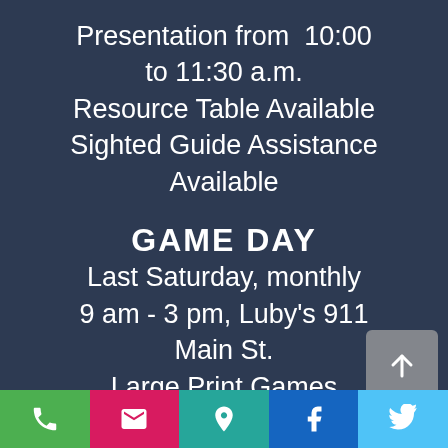Presentation from  10:00 to 11:30 a.m. Resource Table Available Sighted Guide Assistance Available
GAME DAY
Last Saturday, monthly 9 am - 3 pm, Luby's 911 Main St. Large Print Games Dianna Tristan, 210-639-4731
[Figure (infographic): Footer bar with five icon buttons: phone (green), email/envelope (pink/magenta), location pin (teal), Facebook (blue), Twitter (light blue)]